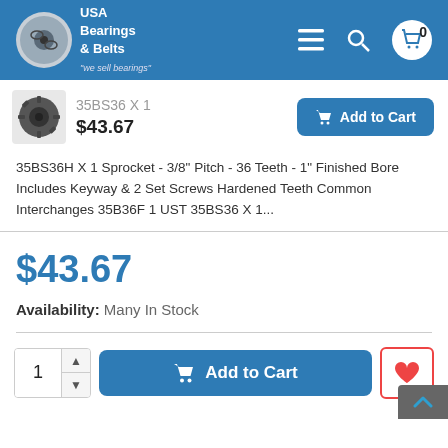USA Bearings & Belts
35BS36 X 1
$43.67
35BS36H X 1 Sprocket - 3/8" Pitch - 36 Teeth - 1" Finished Bore Includes Keyway & 2 Set Screws Hardened Teeth Common Interchanges 35B36F 1 UST 35BS36 X 1...
$43.67
Availability: Many In Stock